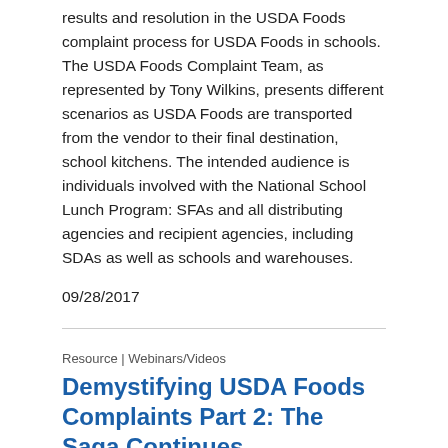results and resolution in the USDA Foods complaint process for USDA Foods in schools. The USDA Foods Complaint Team, as represented by Tony Wilkins, presents different scenarios as USDA Foods are transported from the vendor to their final destination, school kitchens. The intended audience is individuals involved with the National School Lunch Program: SFAs and all distributing agencies and recipient agencies, including SDAs as well as schools and warehouses.
09/28/2017
Resource | Webinars/Videos
Demystifying USDA Foods Complaints Part 2: The Saga Continues